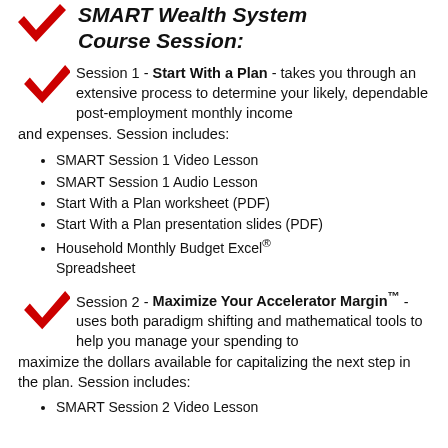SMART Wealth System Course Session:
Session 1 - Start With a Plan - takes you through an extensive process to determine your likely, dependable post-employment monthly income and expenses. Session includes:
SMART Session 1 Video Lesson
SMART Session 1 Audio Lesson
Start With a Plan worksheet (PDF)
Start With a Plan presentation slides (PDF)
Household Monthly Budget Excel® Spreadsheet
Session 2 - Maximize Your Accelerator Margin™ - uses both paradigm shifting and mathematical tools to help you manage your spending to maximize the dollars available for capitalizing the next step in the plan. Session includes:
SMART Session 2 Video Lesson